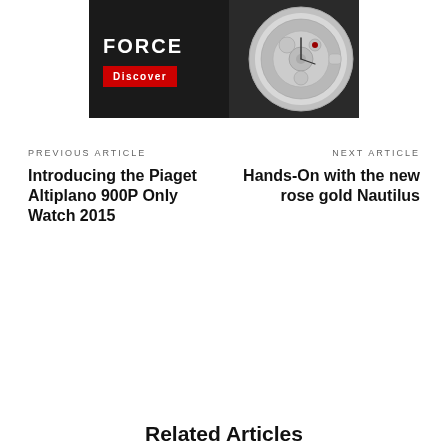[Figure (photo): Advertisement banner for a watch brand showing 'FORCE' text in white on dark background with a red 'Discover' button and a close-up of a luxury watch movement on the right side.]
PREVIOUS ARTICLE
Introducing the Piaget Altiplano 900P Only Watch 2015
NEXT ARTICLE
Hands-On with the new rose gold Nautilus
Related Article